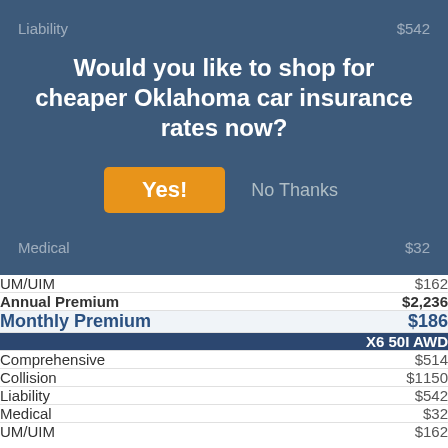[Figure (screenshot): Modal dialog overlay asking 'Would you like to shop for cheaper Oklahoma car insurance rates now?' with a yellow 'Yes!' button and a 'No Thanks' text link, overlaid on a blue-gray background showing partially visible insurance rate rows (Liability $542, Medical $32).]
|  | X6 50I AWD |
| --- | --- |
| UM/UIM | $162 |
| Annual Premium | $2,236 |
| Monthly Premium | $186 |
| Comprehensive | $514 |
| Collision | $1150 |
| Liability | $542 |
| Medical | $32 |
| UM/UIM | $162 |